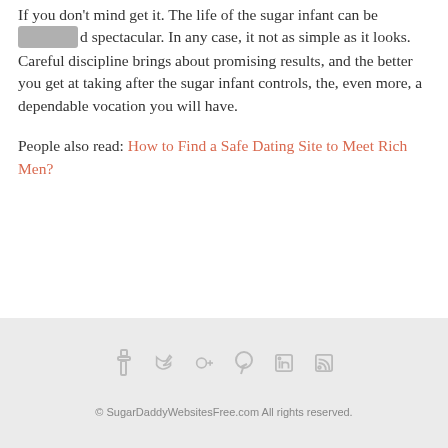If you don't mind get it. The life of the sugar infant can be rich and spectacular. In any case, it not as simple as it looks. Careful discipline brings about promising results, and the better you get at taking after the sugar infant controls, the, even more, a dependable vocation you will have.
People also read: How to Find a Safe Dating Site to Meet Rich Men?
[Figure (other): Footer social media icons (outline icon buttons)]
© SugarDaddyWebsitesFree.com All rights reserved.